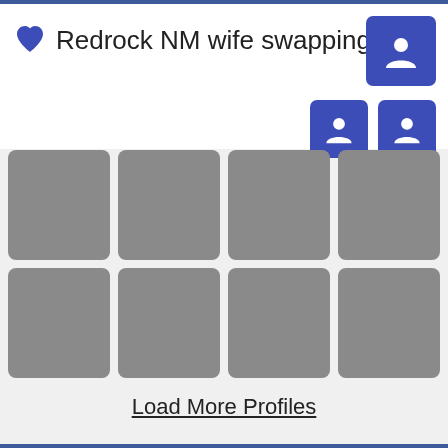Redrock NM wife swapping
[Figure (illustration): Grid of 8 placeholder profile thumbnail images (gray squares), 4 columns x 2 rows, with person icons on two buttons in top right corner]
Load More Profiles